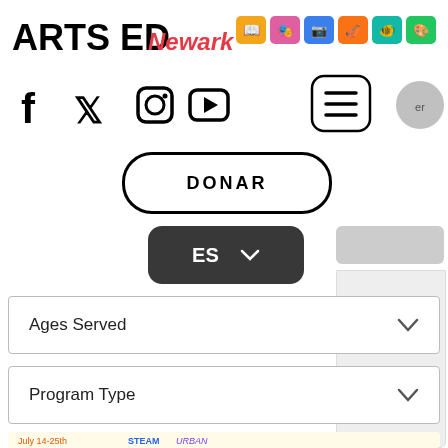[Figure (logo): Arts Ed Newark logo with colorful icon strip]
[Figure (infographic): Social media icons: Facebook, Twitter, Instagram, YouTube; hamburger menu button; grey search circle]
DONAR
ES  ∨
Ages Served
Program Type
[Figure (photo): Keep Art Alive summer program flyer: SteamUrbn presents Keep Art Alive at Greater Newark, August 9-20th, Where Art Equals Social Justice. A FREE S.T.E.A.M. Summer Program for students in grades K-8th!]